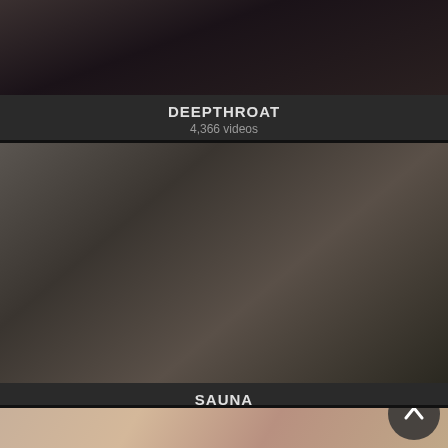[Figure (photo): Partial thumbnail at top of page, dark tones]
DEEPTHROAT
4,366 videos
[Figure (photo): Two women in an industrial-looking tiled room]
SAUNA
147 videos
[Figure (photo): Partial thumbnail at bottom of page, skin tones, with up-arrow navigation button]